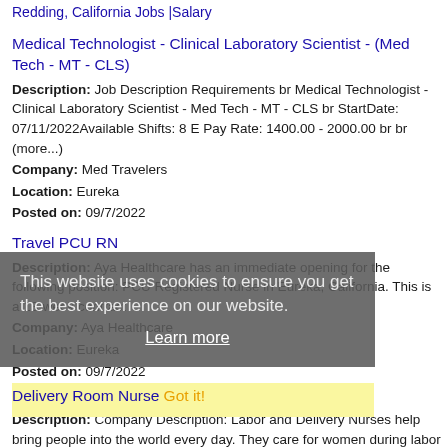Redding, California Jobs |Salary
Medical Technologist - Clinical Laboratory Scientist - (Med Tech - MT - CLS)
Description: Job Description Requirements br Medical Technologist - Clinical Laboratory Scientist - Med Tech - MT - CLS br StartDate: 07/11/2022Available Shifts: 8 E Pay Rate: 1400.00 - 2000.00 br br (more...)
Company: Med Travelers
Location: Eureka
Posted on: 09/7/2022
Travel PCU RN
Description: Aya Healthcare has an immediate opening for the following position: PCU Registered Nurse in Eureka, California. This is a 13-week contract
Company: Aya Healthcare
Location: Eureka
Posted on: 09/7/2022
This website uses cookies to ensure you get the best experience on our website.
Learn more
Delivery Room Nurse Got it!
Description: Company Description: Labor and Delivery Nurses help bring people into the world every day. They care for women during labor and